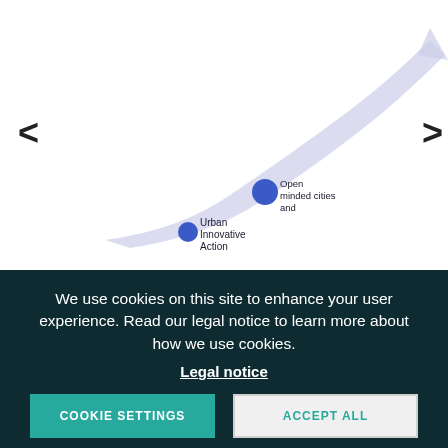[Figure (infographic): An upward-curving arrow path showing a progression of steps labeled with blue circles of increasing sizes: Urban Innovative Action, Open minded cities and partners, Learning to know each other and act, Creating a common ENERGY platform, Creating own platform (partially visible). Navigation arrows on left and right sides.]
We use cookies on this site to enhance your user experience. Read our legal notice to learn more about how we use cookies.
Legal notice
COOKIE SETTINGS
ACCEPT ALL